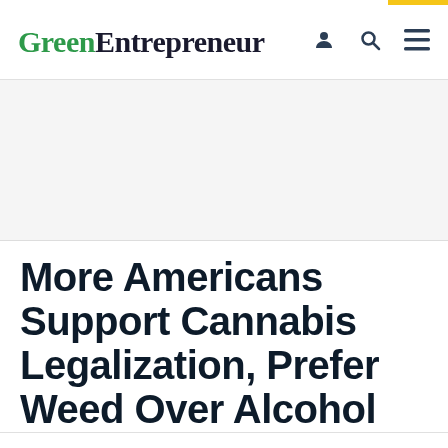GreenEntrepreneur
More Americans Support Cannabis Legalization, Prefer Weed Over Alcohol
The wave of the future.
By Nina Zdinjak